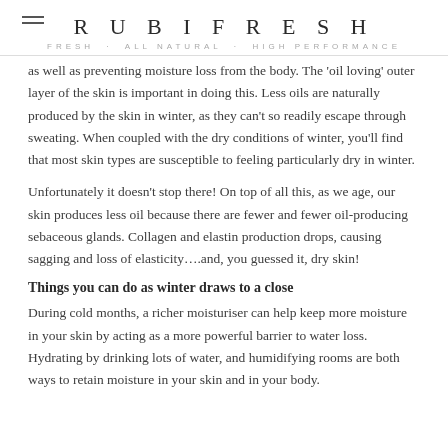RUBIFRESH
FRESH · ALL NATURAL · HIGH PERFORMANCE
as well as preventing moisture loss from the body. The 'oil loving' outer layer of the skin is important in doing this. Less oils are naturally produced by the skin in winter, as they can't so readily escape through sweating. When coupled with the dry conditions of winter, you'll find that most skin types are susceptible to feeling particularly dry in winter.
Unfortunately it doesn't stop there! On top of all this, as we age, our skin produces less oil because there are fewer and fewer oil-producing sebaceous glands. Collagen and elastin production drops, causing sagging and loss of elasticity….and, you guessed it, dry skin!
Things you can do as winter draws to a close
During cold months, a richer moisturiser can help keep more moisture in your skin by acting as a more powerful barrier to water loss. Hydrating by drinking lots of water, and humidifying rooms are both ways to retain moisture in your skin and in your body.